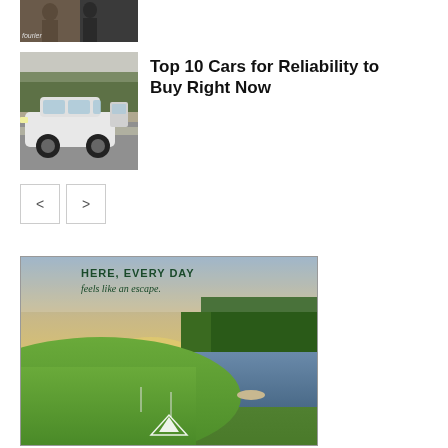[Figure (photo): Small partial photo at top showing people, partially cropped, with text overlay 'fourier']
[Figure (photo): Photo of a white SUV/crossover car parked on a street with trees in background]
Top 10 Cars for Reliability to Buy Right Now
[Figure (other): Navigation previous/next buttons (< and >)]
[Figure (photo): Advertisement image showing aerial view of golf course with lake and trees. Text reads: HERE, EVERY DAY feels like an escape.]